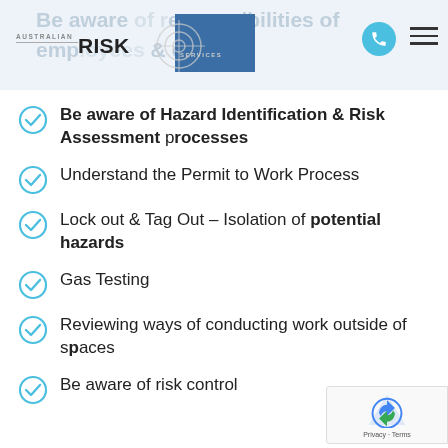Australian Risk Services — Be aware of responsibilities of employees & others
Be aware of Hazard Identification & Risk Assessment processes
Understand the Permit to Work Process
Lock out & Tag Out – Isolation of potential hazards
Gas Testing
Reviewing ways of conducting work outside of spaces
Be aware of risk control